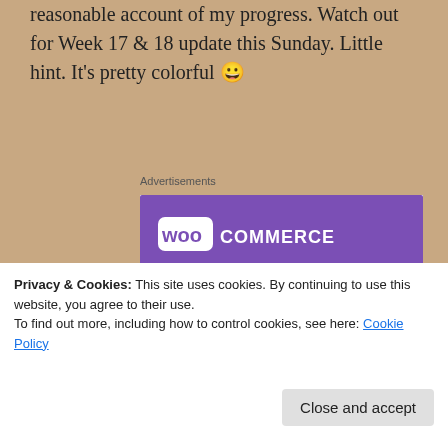reasonable account of my progress. Watch out for Week 17 & 18 update this Sunday. Little hint. It's pretty colorful 😀
Advertisements
[Figure (screenshot): WooCommerce advertisement banner showing logo on purple background with teal and blue geometric shapes, headline 'How to start selling subscriptions online' and a purple button]
Privacy & Cookies: This site uses cookies. By continuing to use this website, you agree to their use.
To find out more, including how to control cookies, see here: Cookie Policy
Close and accept